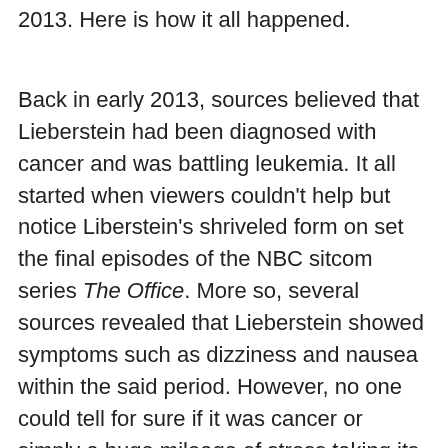2013. Here is how it all happened.
Back in early 2013, sources believed that Lieberstein had been diagnosed with cancer and was battling leukemia. It all started when viewers couldn't help but notice Liberstein's shriveled form on set the final episodes of the NBC sitcom series The Office. More so, several sources revealed that Lieberstein showed symptoms such as dizziness and nausea within the said period. However, no one could tell for sure if it was cancer or simply a huge mileage of stress taking its toll.
By mid-2019, Paul Liberstein's two-month absence